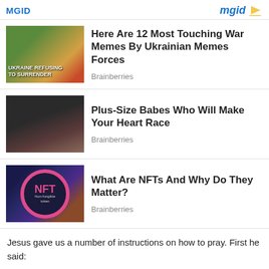MGID
[Figure (other): MGID logo with arrow icon]
[Figure (photo): Ukraine Refusing to Surrender war artwork image]
Here Are 12 Most Touching War Memes By Ukrainian Memes Forces
Brainberries
[Figure (photo): Portrait of a plus-size woman]
Plus-Size Babes Who Will Make Your Heart Race
Brainberries
[Figure (photo): NFT Non-fungible token coin image]
What Are NFTs And Why Do They Matter?
Brainberries
Jesus gave us a number of instructions on how to pray. First he said:
Pray then like this: